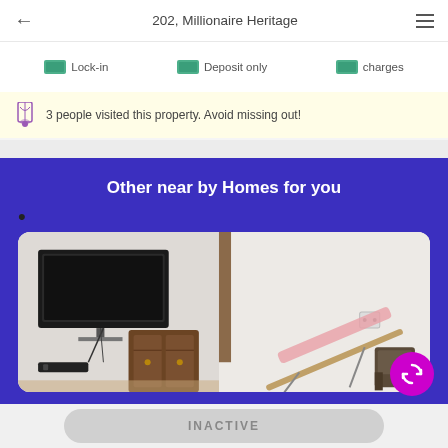202, Millionaire Heritage
Lock-in   Deposit only   charges
⌛ 3 people visited this property. Avoid missing out!
Other near by Homes for you
[Figure (photo): Interior photo of a furnished room showing a wall-mounted TV, wooden cabinet, and an ironing board]
INACTIVE